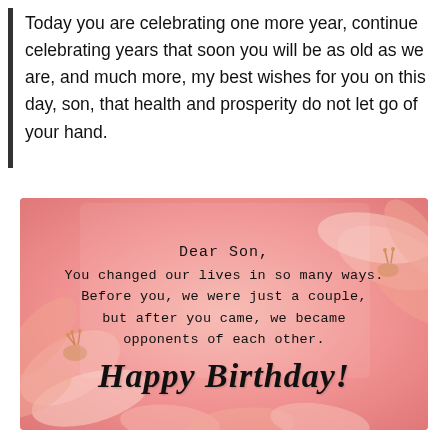Today you are celebrating one more year, continue celebrating years that soon you will be as old as we are, and much more, my best wishes for you on this day, son, that health and prosperity do not let go of your hand.
[Figure (illustration): Birthday card with pink floral background showing text: 'Dear Son, You changed our lives in so many ways. Before you, we were just a couple, but after you came, we became opponents of each other. Happy Birthday!']